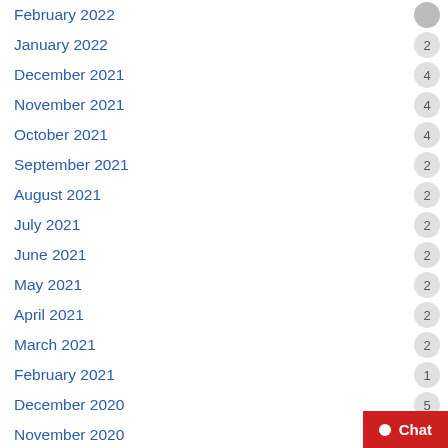February 2022
January 2022 2
December 2021 4
November 2021 4
October 2021 4
September 2021 2
August 2021 2
July 2021 2
June 2021 2
May 2021 2
April 2021 2
March 2021 2
February 2021 1
December 2020 5
November 2020 2
October 2020 4
September 2020 5
August 2020 4
July 2020 7
June 2020